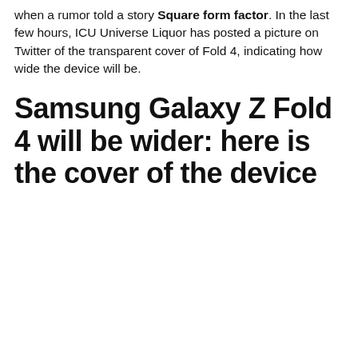when a rumor told a story Square form factor. In the last few hours, ICU Universe Liquor has posted a picture on Twitter of the transparent cover of Fold 4, indicating how wide the device will be.
Samsung Galaxy Z Fold 4 will be wider: here is the cover of the device